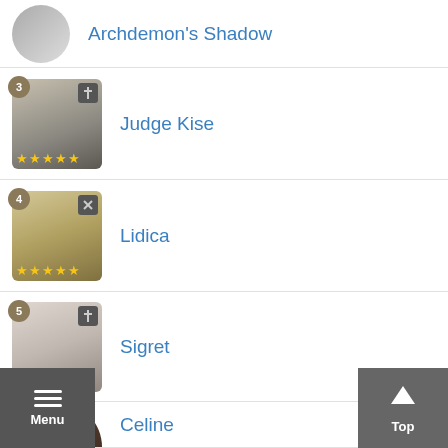Archdemon's Shadow
3 Judge Kise
4 Lidica
5 Sigret
6 Celine
7 Eda